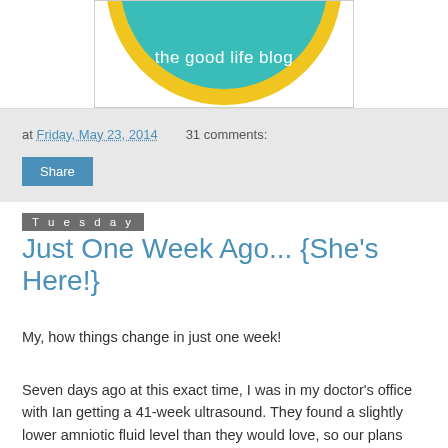[Figure (logo): The Good Life Blog logo — circular teal badge with yellow border and white text reading 'the good life blog']
at Friday, May 23, 2014   31 comments:
Share
Tuesday
Just One Week Ago... {She's Here!}
My, how things change in just one week!
Seven days ago at this exact time, I was in my doctor's office with Ian getting a 41-week ultrasound. They found a slightly lower amniotic fluid level than they would love, so our plans quickly changed ... we got ready to have a baby!
We are in love that every experience of this crazy and exhausting